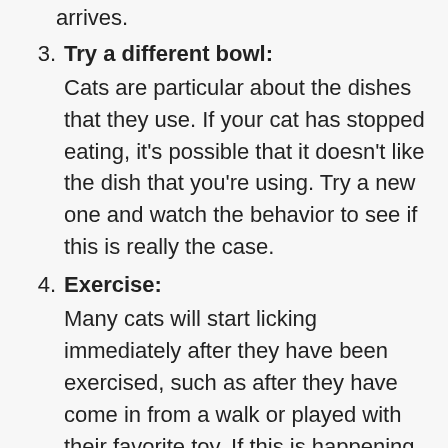arrives.
Try a different bowl: Cats are particular about the dishes that they use. If your cat has stopped eating, it’s possible that it doesn’t like the dish that you’re using. Try a new one and watch the behavior to see if this is really the case.
Exercise: Many cats will start licking immediately after they have been exercised, such as after they have come in from a walk or played with their favorite toy. If this is happening to your cat, try redirecting its